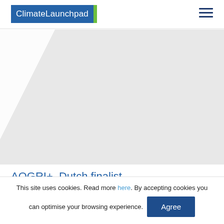ClimateLaunchpad
[Figure (illustration): Gray background hero image area with a diagonal white shape in the upper left corner, suggesting a placeholder or partially loaded image]
AQGRI+, Dutch finalist
Selling fresh water, compost and fish is what
This site uses cookies. Read more here. By accepting cookies you can optimise your browsing experience.